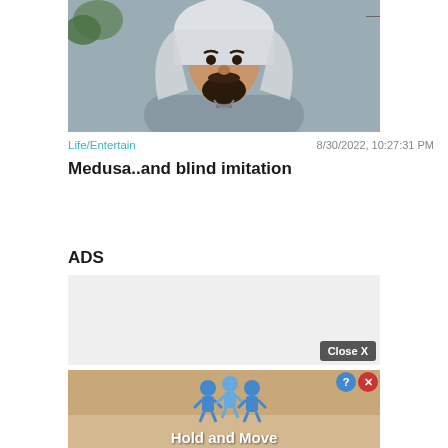[Figure (photo): Photo of a man wearing traditional Gulf Arab attire (grey thobe and white keffiyeh/ghutra) with a beard, shown from chest up]
Life/Entertain
8/30/2022, 10:27:31 PM
Medusa..and blind imitation
ADS
[Figure (screenshot): Grey advertisement placeholder box with Close X button]
[Figure (screenshot): Hold and Move game advertisement banner with blue cartoon figures on a sandy background]